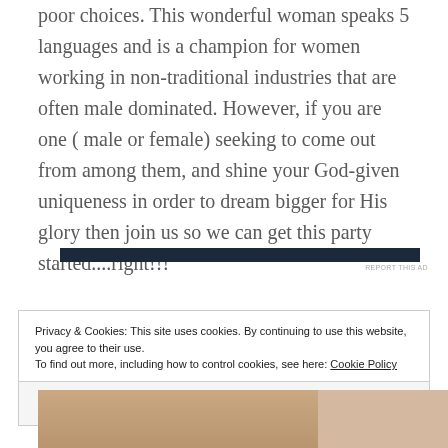poor choices. This wonderful woman speaks 5 languages and is a champion for women working in non-traditional industries that are often male dominated. However, if you are one ( male or female) seeking to come out from among them, and shine your God-given uniqueness in order to dream bigger for His glory then join us so we can get this party started....right!!!
[Figure (other): Dark navy/black horizontal advertisement bar with REPORT THIS AD text below]
Privacy & Cookies: This site uses cookies. By continuing to use this website, you agree to their use. To find out more, including how to control cookies, see here: Cookie Policy
Close and accept
[Figure (photo): Partial photo strip at the bottom of the page showing the top of a person's head]